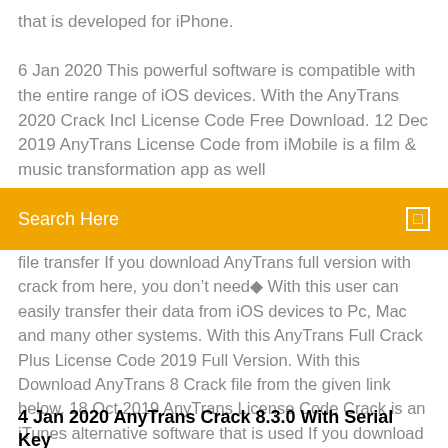that is developed for iPhone.
6 Jan 2020 This powerful software is compatible with the entire range of iOS devices. With the AnyTrans 2020 Crack Incl License Code Free Download. 12 Dec 2019 AnyTrans License Code from iMobile is a film & music transformation app as well
[Figure (screenshot): Search bar with orange background and text 'Search Here' with a small icon on the right]
file transfer If you download AnyTrans full version with crack from here, you don't need◆ With this user can easily transfer their data from iOS devices to Pc, Mac and many other systems. With this AnyTrans Full Crack Plus License Code 2019 Full Version. With this Download AnyTrans 8 Crack file from the given link below. 18 Oct 2019 AnyTrans License Code Crack is an iTunes alternative software that is used If you download AnyTrans 7.4.0 full version from here, you don't◆
4 Jan 2020 AnyTrans Crack 8.3.0 With Serial Key